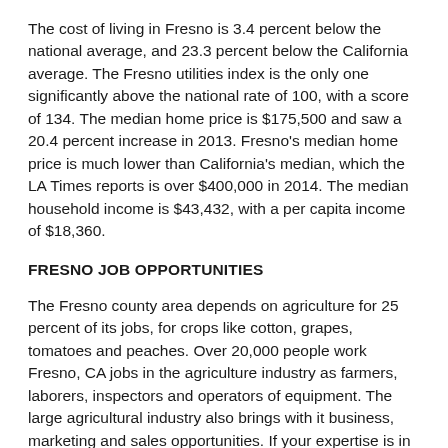The cost of living in Fresno is 3.4 percent below the national average, and 23.3 percent below the California average. The Fresno utilities index is the only one significantly above the national rate of 100, with a score of 134. The median home price is $175,500 and saw a 20.4 percent increase in 2013. Fresno's median home price is much lower than California's median, which the LA Times reports is over $400,000 in 2014. The median household income is $43,432, with a per capita income of $18,360.
FRESNO JOB OPPORTUNITIES
The Fresno county area depends on agriculture for 25 percent of its jobs, for crops like cotton, grapes, tomatoes and peaches. Over 20,000 people work Fresno, CA jobs in the agriculture industry as farmers, laborers, inspectors and operators of equipment. The large agricultural industry also brings with it business, marketing and sales opportunities. If your expertise is in management or administration, look for